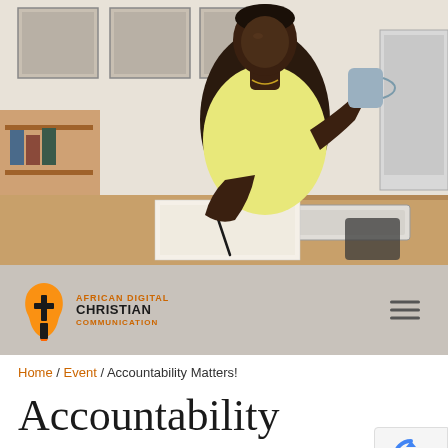[Figure (photo): A woman in a yellow top sits at a desk, writing on paper and holding a gray mug, with a computer monitor and keyboard visible. Office shelving in background with framed artwork on wall.]
[Figure (logo): African Digital Christian Communication logo — Africa-shaped icon with cross, text 'AFRICAN DIGITAL CHRISTIAN COMMUNICATION' in orange and black.]
Home / Event / Accountability Matters!
Accountability Matters!